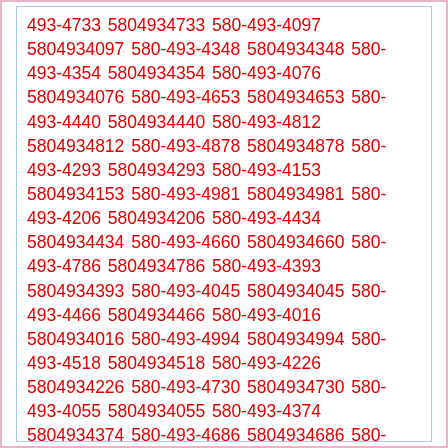493-4733 5804934733 580-493-4097 5804934097 580-493-4348 5804934348 580-493-4354 5804934354 580-493-4076 5804934076 580-493-4653 5804934653 580-493-4440 5804934440 580-493-4812 5804934812 580-493-4878 5804934878 580-493-4293 5804934293 580-493-4153 5804934153 580-493-4981 5804934981 580-493-4206 5804934206 580-493-4434 5804934434 580-493-4660 5804934660 580-493-4786 5804934786 580-493-4393 5804934393 580-493-4045 5804934045 580-493-4466 5804934466 580-493-4016 5804934016 580-493-4994 5804934994 580-493-4518 5804934518 580-493-4226 5804934226 580-493-4730 5804934730 580-493-4055 5804934055 580-493-4374 5804934374 580-493-4686 5804934686 580-493-4200 5804934200 580-493-4343 5804934343 580-493-4828 5804934828 580-493-4824 5804934824 580-493-4222 5804934222 580-493-4143 5804934143 580-493-4533 5804934533 580-493-4980